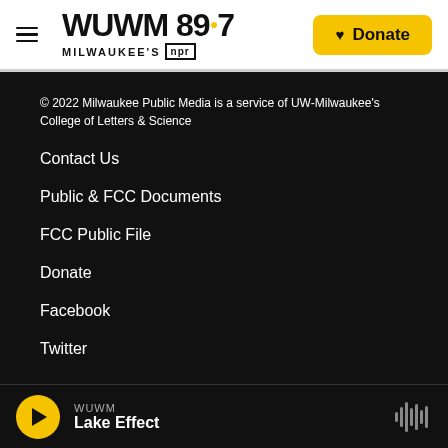WUWM 89.7 MILWAUKEE'S NPR — Donate
© 2022 Milwaukee Public Media is a service of UW-Milwaukee's College of Letters & Science
Contact Us
Public & FCC Documents
FCC Public File
Donate
Facebook
Twitter
WUWM Lake Effect